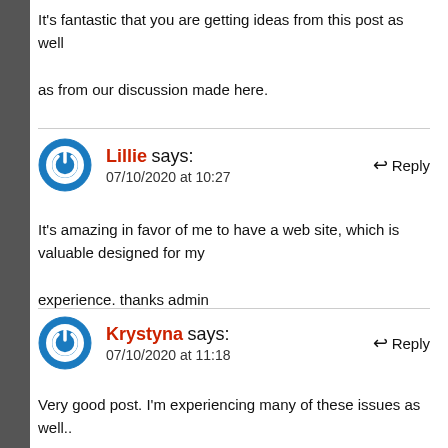It's fantastic that you are getting ideas from this post as well as from our discussion made here.
Lillie says: 07/10/2020 at 10:27
It's amazing in favor of me to have a web site, which is valuable designed for my experience. thanks admin
Krystyna says: 07/10/2020 at 11:18
Very good post. I'm experiencing many of these issues as well..